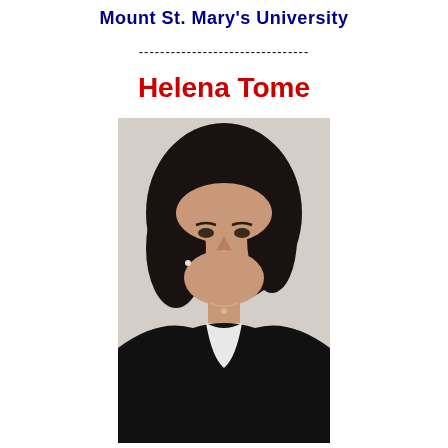Mount St. Mary's University
--------------------------------
Helena Tome
[Figure (photo): Professional headshot of Helena Tome, a woman with dark shoulder-length hair wearing a black blazer and white top with a pearl necklace, against a light grey background.]